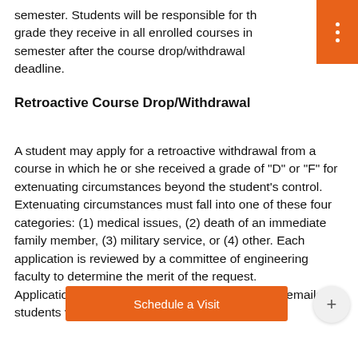semester. Students will be responsible for the grade they receive in all enrolled courses in semester after the course drop/withdrawal deadline.
Retroactive Course Drop/Withdrawal
A student may apply for a retroactive withdrawal from a course in which he or she received a grade of "D" or "F" for extenuating circumstances beyond the student's control. Extenuating circumstances must fall into one of these four categories: (1) medical issues, (2) death of an immediate family member, (3) military service, or (4) other. Each application is reviewed by a committee of engineering faculty to determine the merit of the request. Applications...ore the deadline set each semester. This deadline w... be emailed to students via their university email